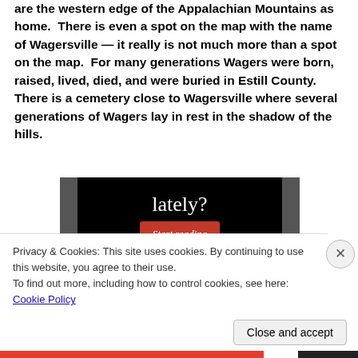are the western edge of the Appalachian Mountains as home.  There is even a spot on the map with the name of Wagersville — it really is not much more than a spot on the map.  For many generations Wagers were born, raised, lived, died, and were buried in Estill County. There is a cemetery close to Wagersville where several generations of Wagers lay in rest in the shadow of the hills.
[Figure (screenshot): Dark advertisement banner with text 'lately?' in white serif font and a red 'Start reading' button]
Privacy & Cookies: This site uses cookies. By continuing to use this website, you agree to their use.
To find out more, including how to control cookies, see here: Cookie Policy
Close and accept